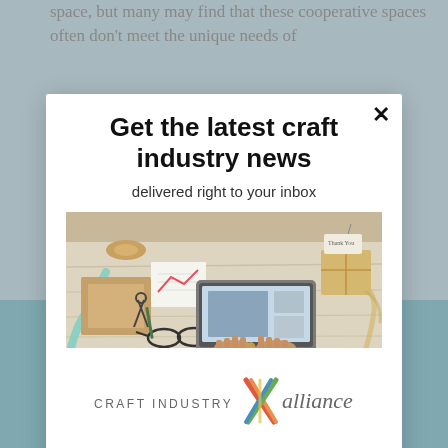space, but many may find that these cooperative spaces often don't meet the unique needs of
Get the latest craft industry news
delivered right to your inbox
[Figure (photo): Person typing on a laptop surrounded by craft supplies, ribbons, scissors, glasses, and wrapped gifts on a white wooden table]
[Figure (logo): Craft Industry Alliance logo with colorful X graphic between 'CRAFT INDUSTRY' and 'alliance' text]
Enter your email